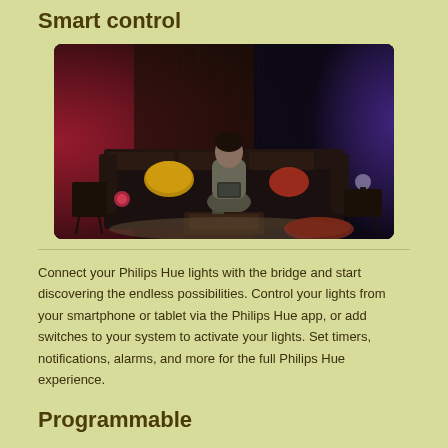Smart control
[Figure (photo): Person sitting on a dark couch in a living room with colorful Philips Hue smart lighting — red/pink light on the left wall, blue/purple light on the right. The person is using a tablet. Colorful cushions on the sofa.]
Connect your Philips Hue lights with the bridge and start discovering the endless possibilities. Control your lights from your smartphone or tablet via the Philips Hue app, or add switches to your system to activate your lights. Set timers, notifications, alarms, and more for the full Philips Hue experience.
Programmable